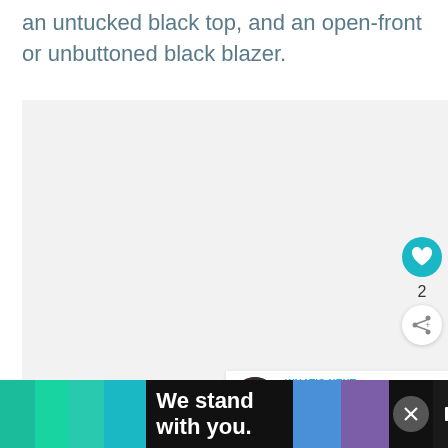an untucked black top, and an open-front or unbuttoned black blazer.
[Figure (photo): Light gray image placeholder area (photo content not visible), with a teal heart like button showing count of 2, a share button, and a 'What's Next' card showing 'Hiding a Baby Bump — Th...']
WHAT'S NEXT → Hiding a Baby Bump — Th...
We stand with you.